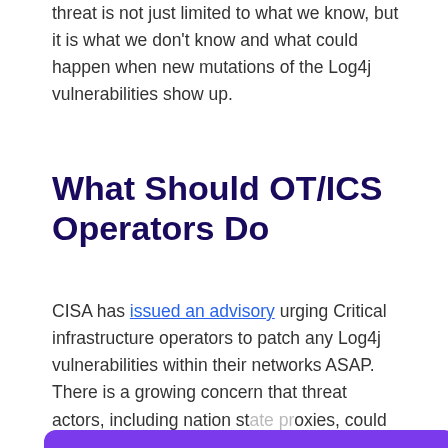threat is not just limited to what we know, but it is what we don't know and what could happen when new mutations of the Log4j vulnerabilities show up.
What Should OT/ICS Operators Do
CISA has issued an advisory urging Critical infrastructure operators to patch any Log4j vulnerabilities within their networks ASAP. There is a growing concern that threat actors, including nation state proxies, could compromise networks and cause significant long term damage to our nation's critical infrastructure.
Cookies & Privacy
We use cookies to personalize your experience. More information
Accept Cookies   Customize Cookies
Rezilion recommends that in addition to following the official directives, as well as guidance from their vendors (such as Schneider, Siemens, or Prosys who